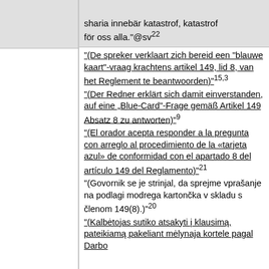sharia innebär katastrof, katastrof för oss alla."@sv²²
"(De spreker verklaart zich bereid een "blauwe kaart"-vraag krachtens artikel 149, lid 8, van het Reglement te beantwoorden)"15,3
"(Der Redner erklärt sich damit einverstanden, auf eine „Blue-Card“-Frage gemäß Artikel 149 Absatz 8 zu antworten)"9
"(El orador acepta responder a la pregunta con arreglo al procedimiento de la «tarjeta azul» de conformidad con el apartado 8 del artículo 149 del Reglamento)"21
"(Govornik se je strinjal, da sprejme vprašanje na podlagi modrega kartončka v skladu s členom 149(8).)"20
"(Kalbėtojas sutiko atsakyti į klausimą, pateikiamą pakeliant mėlynaja kortele pagal Darbo